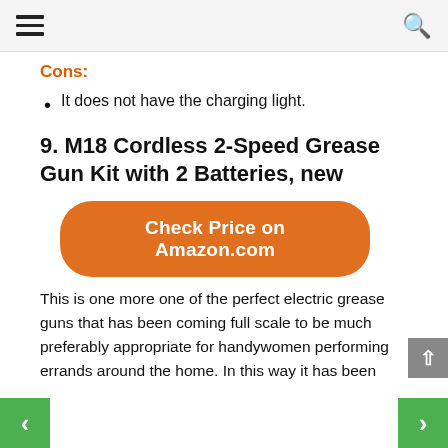Navigation bar with hamburger menu and search icon
Cons:
It does not have the charging light.
9. M18 Cordless 2-Speed Grease Gun Kit with 2 Batteries, new
[Figure (other): Orange rounded button labeled 'Check Price on Amazon.com']
This is one more one of the perfect electric grease guns that has been coming full scale to be much preferably appropriate for handywomen performing errands around the home. In this way it has been